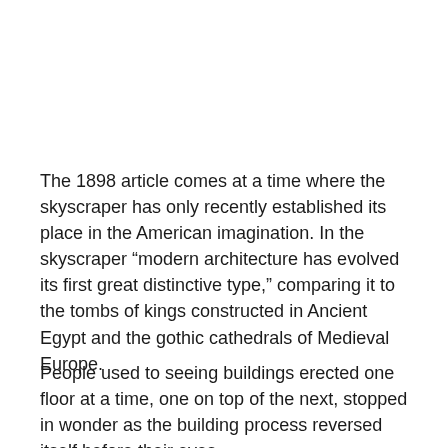The 1898 article comes at a time where the skyscraper has only recently established its place in the American imagination. In the skyscraper “modern architecture has evolved its first great distinctive type,” comparing it to the tombs of kings constructed in Ancient Egypt and the gothic cathedrals of Medieval Europe.
People used to seeing buildings erected one floor at a time, one on top of the next, stopped in wonder as the building process reversed itself before their eyes.